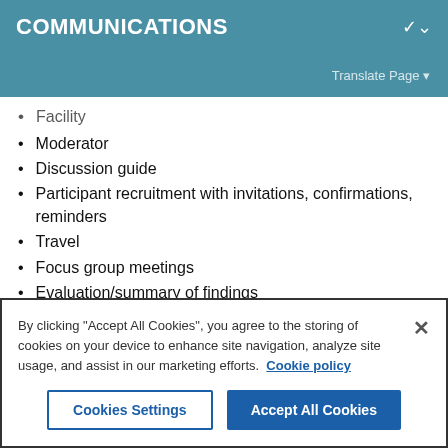COMMUNICATIONS
Translate Page ▼
Facility
Moderator
Discussion guide
Participant recruitment with invitations, confirmations, reminders
Travel
Focus group meetings
Evaluation/summary of findings
By clicking "Accept All Cookies", you agree to the storing of cookies on your device to enhance site navigation, analyze site usage, and assist in our marketing efforts.  Cookie policy
Cookies Settings | Accept All Cookies